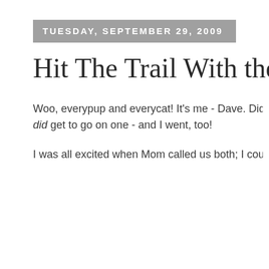TUESDAY, SEPTEMBER 29, 2009
Hit The Trail With the Boys,
Woo, everypup and everycat! It's me - Dave. Did you all see Z... did get to go on one - and I went, too!
I was all excited when Mom called us both; I couldn't wait to...